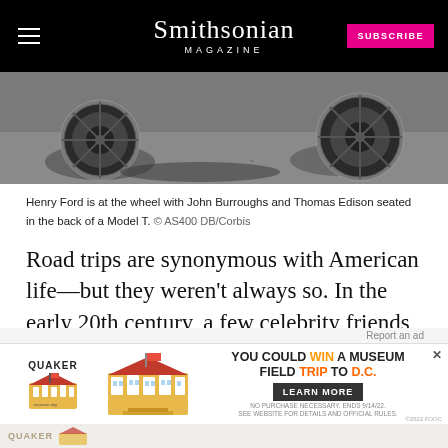Smithsonian MAGAZINE
[Figure (photo): Black and white photo showing the lower portion of a vintage automobile, showing tires and wheels on a dirt/gravel road — part of a historical photo of Henry Ford, John Burroughs, and Thomas Edison in a Model T.]
Henry Ford is at the wheel with John Burroughs and Thomas Edison seated in the back of a Model T. © AS400 DB/Corbis
Road trips are synonymous with American life—but they weren't always so. In the early 20th century, a few celebrity friends gave the tradition of disappearing down a lonesome highway a jump-start.
[Figure (screenshot): Quaker advertisement: 'YOU COULD WIN A MUSEUM FIELD TRIP TO D.C.' with a Learn More button. Features illustrated museum building graphic and Quaker museum day branding. Fine print: No purchase necessary. Ends 9/14/22. See website for details and official rules.]